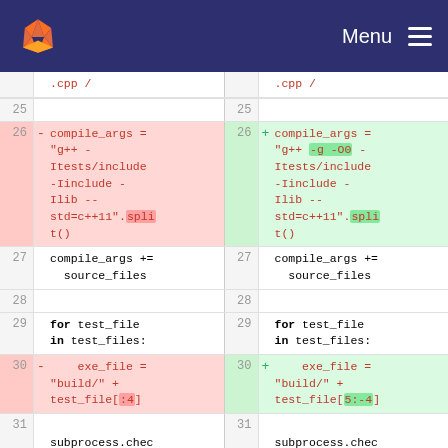[Figure (screenshot): GitLab navigation bar with fox logo on the left and Menu hamburger icon on the right, dark navy background]
Code diff view showing Python test runner script changes. Lines 25-31 of a diff comparing two versions. Line 26: compile_args assignment changed to add -g -O0 flags. Line 30: exe_file slice changed from [:4] to [5:-4].